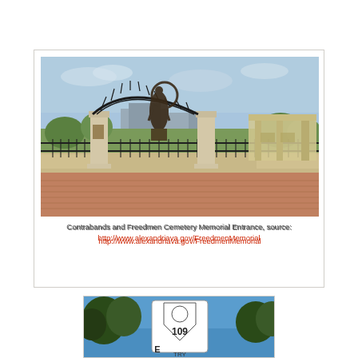[Figure (photo): Photograph of the Contrabands and Freedmen Cemetery Memorial Entrance showing a decorative iron arch gate, bronze sculpture of figures, stone pillars with plaques, iron fence, and a structure in the background. Sky is blue with trees visible.]
Contrabands and Freedmen Cemetery Memorial Entrance, source:
http://www.alexandriava.gov/FreedmenMemorial
[Figure (photo): Photograph showing a Virginia state highway sign with 'E 109' and text below partially cut off, with trees and blue sky in the background.]